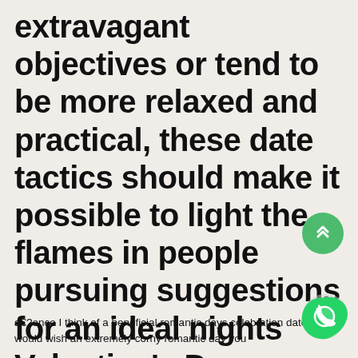extravagant objectives or tend to be more relaxed and practical, these date tactics should make it possible to light the flames in people pursuing suggestions for an ideal nights Valentine's Day romance
a€?once I think of a beneficial romantic days celebration date, I would wish an extremely corny romantic day you